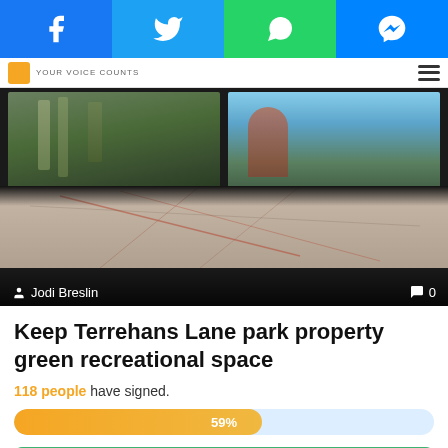Facebook | Twitter | WhatsApp | Messenger share buttons
[Figure (screenshot): Social share bar with Facebook, Twitter, WhatsApp, and Messenger buttons]
[Figure (photo): Two outdoor photos side by side showing Terrehans Lane park with trees and road, and a map/cadastral plan below. Author: Jodi Breslin. Comment count: 0]
Keep Terrehans Lane park property green recreational space
118 people have signed.
[Figure (infographic): Progress bar showing 59% of goal reached, orange fill on light blue background]
SIGN PETITION